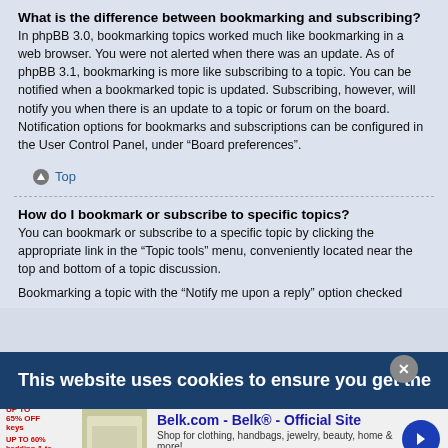What is the difference between bookmarking and subscribing?
In phpBB 3.0, bookmarking topics worked much like bookmarking in a web browser. You were not alerted when there was an update. As of phpBB 3.1, bookmarking is more like subscribing to a topic. You can be notified when a bookmarked topic is updated. Subscribing, however, will notify you when there is an update to a topic or forum on the board. Notification options for bookmarks and subscriptions can be configured in the User Control Panel, under “Board preferences”.
Top
How do I bookmark or subscribe to specific topics?
You can bookmark or subscribe to a specific topic by clicking the appropriate link in the “Topic tools” menu, conveniently located near the top and bottom of a topic discussion.
Bookmarking a topic with the “Notify me upon a reply” option checked
This website uses cookies to ensure you get the
[Figure (screenshot): Advertisement banner for Belk.com showing shopping categories and a blue arrow button]